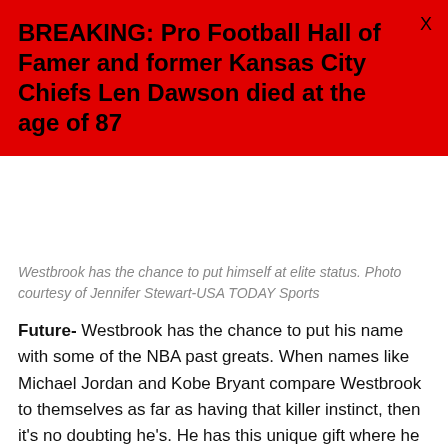BREAKING: Pro Football Hall of Famer and former Kansas City Chiefs Len Dawson died at the age of 87
Westbrook has the chance to put himself at elite status. Photo courtesy of Jennifer Stewart-USA TODAY Sports
Future- Westbrook has the chance to put his name with some of the NBA past greats. When names like Michael Jordan and Kobe Bryant compare Westbrook to themselves as far as having that killer instinct, then it's no doubting he's. He has this unique gift where he can give the team any and everything it needs and not lose any energy doing it. With him being the lone star, he will get his